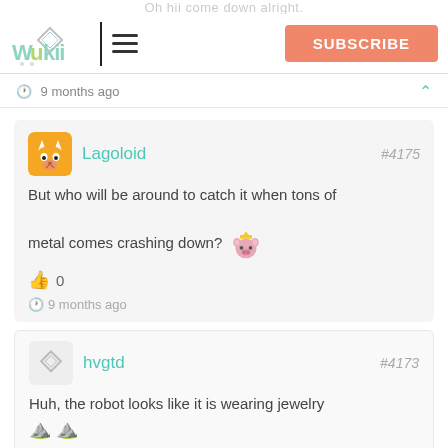Oh hii come down alright
[Figure (logo): Wukii logo with colorful text and diamond/gem icon]
9 months ago
Lagoloid #4175
But who will be around to catch it when tons of metal comes crashing down? [emoji]
👍 0
9 months ago
hvgtd #4173
Huh, the robot looks like it is wearing jewelry